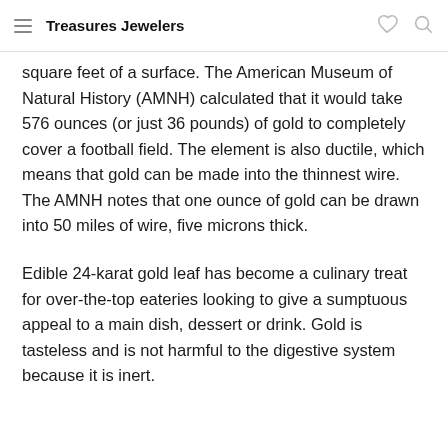Treasures Jewelers
square feet of a surface. The American Museum of Natural History (AMNH) calculated that it would take 576 ounces (or just 36 pounds) of gold to completely cover a football field. The element is also ductile, which means that gold can be made into the thinnest wire. The AMNH notes that one ounce of gold can be drawn into 50 miles of wire, five microns thick.
Edible 24-karat gold leaf has become a culinary treat for over-the-top eateries looking to give a sumptuous appeal to a main dish, dessert or drink. Gold is tasteless and is not harmful to the digestive system because it is inert.